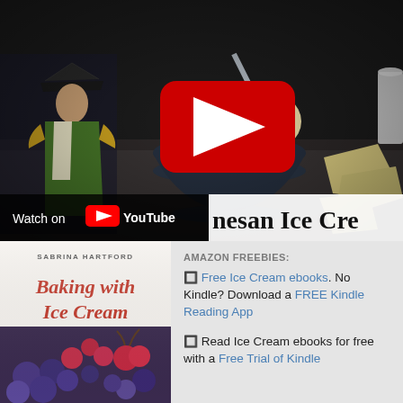[Figure (screenshot): YouTube video thumbnail showing a blue glass dessert bowl with scoops of ice cream and a spoon, with pieces of parmesan cheese on the right side, and an illustrated historical figure on the left. A red YouTube play button is overlaid in the center. Bottom left shows 'Watch on YouTube' bar. Partially visible title reads 'Parmesan Ice Cre...']
[Figure (photo): Book cover for 'Baking with Ice Cream' by Sabrina Hartford, showing frozen berries and cherries at the bottom with script-style text on light background]
AMAZON FREEBIES:
🔲 Free Ice Cream ebooks. No Kindle? Download a FREE Kindle Reading App
🔲 Read Ice Cream ebooks for free with a Free Trial of Kindle